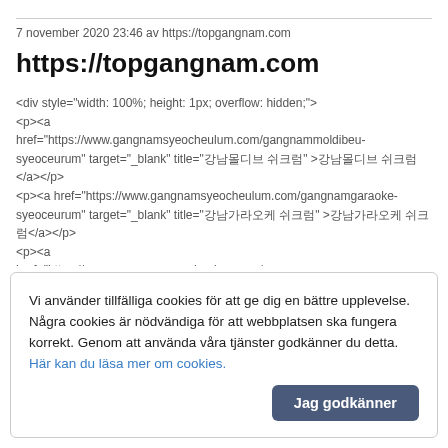7 november 2020 23:46 av https://topgangnam.com
https://topgangnam.com
<div style="width: 100%; height: 1px; overflow: hidden;"> <p><a href="https://www.gangnamsyeocheulum.com/gangnammoldibeu-syeoceurum" target="_blank" title="강남몰디브 쉬크럼" >강남몰디브 쉬크럼</a></p> <p><a href="https://www.gangnamsyeocheulum.com/gangnamgaraoke-syeoceurum" target="_blank" title="강남가라오케 쉬크럼" >강남가라오케 쉬크럼</a></p> <p><a href="https://www.gangnamsyeocheulum.com/gangnamsyeoceurum-halriudeu" target="_blank" title="강남셔크럼할리우드" >강남셔크럼할리우드</a></p> <p><a href="https://www.gangnamsyeocheul
Vi använder tillfälliga cookies för att ge dig en bättre upplevelse. Några cookies är nödvändiga för att webbplatsen ska fungera korrekt. Genom att använda våra tjänster godkänner du detta. Här kan du läsa mer om cookies.